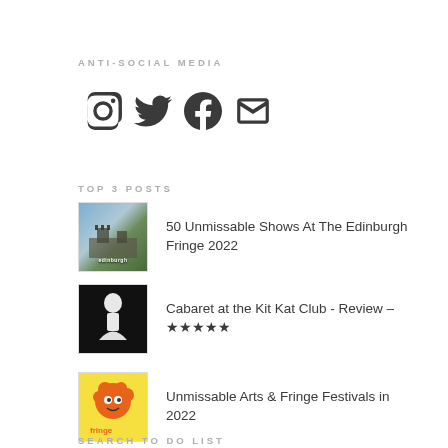ANTI-SOCIAL MEDIA
[Figure (infographic): Four social media icons: Instagram, Twitter, Facebook, Email/envelope]
TOP 3 POSTS
50 Unmissable Shows At The Edinburgh Fringe 2022
Cabaret at the Kit Kat Club - Review – ★★★★★
Unmissable Arts & Fringe Festivals in 2022
SEARCH TO DO LIST